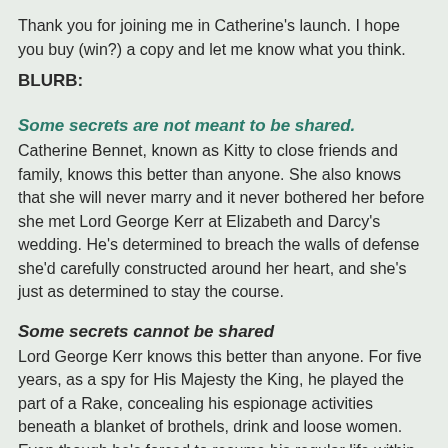Thank you for joining me in Catherine's launch. I hope you buy (win?) a copy and let me know what you think.
BLURB:
Some secrets are not meant to be shared.
Catherine Bennet, known as Kitty to close friends and family, knows this better than anyone. She also knows that she will never marry and it never bothered her before she met Lord George Kerr at Elizabeth and Darcy's wedding. He's determined to breach the walls of defense she'd carefully constructed around her heart, and she's just as determined to stay the course.
Some secrets cannot be shared
Lord George Kerr knows this better than anyone. For five years, as a spy for His Majesty the King, he played the part of a Rake, concealing his espionage activities beneath a blanket of brothels, drink and loose women. Even though he's forced to resume his regular life within London's finest society, he still must keep some things hidden.
One thing he does not hide is his attraction to Miss Catherine